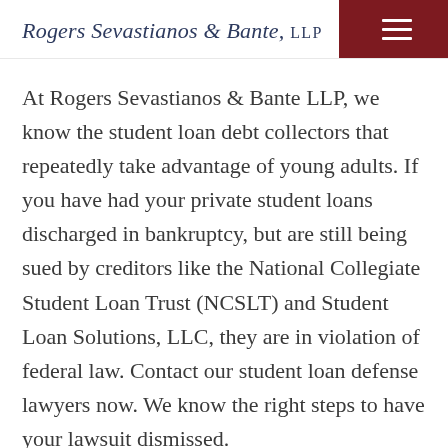Rogers Sevastianos & Bante, LLP
At Rogers Sevastianos & Bante LLP, we know the student loan debt collectors that repeatedly take advantage of young adults. If you have had your private student loans discharged in bankruptcy, but are still being sued by creditors like the National Collegiate Student Loan Trust (NCSLT) and Student Loan Solutions, LLC, they are in violation of federal law. Contact our student loan defense lawyers now. We know the right steps to have your lawsuit dismissed.